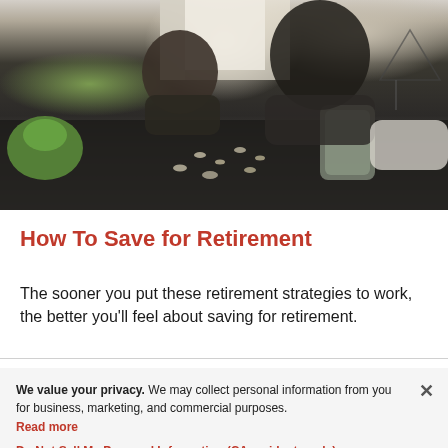[Figure (photo): A man and a child sitting at a table counting coins, with a green piggy bank on the left, coins spread on a dark tablecloth, and a glass jar of coins on the right.]
How To Save for Retirement
The sooner you put these retirement strategies to work, the better you'll feel about saving for retirement.
We value your privacy. We may collect personal information from you for business, marketing, and commercial purposes. Read more
Do Not Sell My Personal Information (CA residents only)